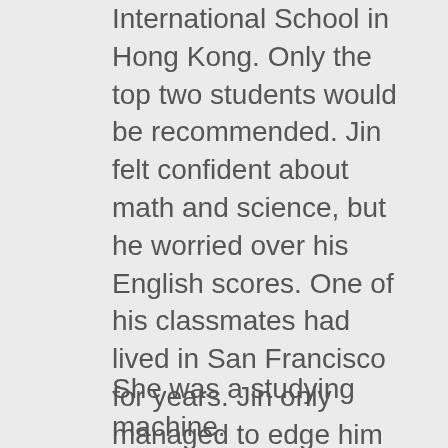International School in Hong Kong. Only the top two students would be recommended. Jin felt confident about math and science, but he worried over his English scores. One of his classmates had lived in San Francisco for years. Jin only managed to edge him out sometimes, while Sori beat them both in every subject every, single, time.
She was a studying machine.